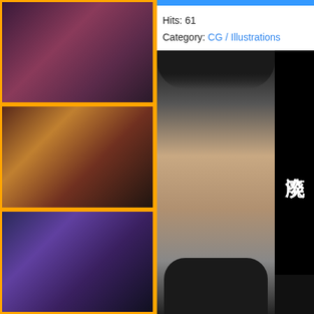[Figure (photo): Thumbnail image 1 - Japanese adult CG content cover]
[Figure (photo): Thumbnail image 2 - Japanese adult CG animation cover]
[Figure (photo): Thumbnail image 3 - Japanese adult CG content cover]
Hits: 61
Category: CG / Illustrations
[Figure (illustration): Large CG preview image of anime-style girl with black hair in dark jacket, with Japanese kanji text on right side on black background]